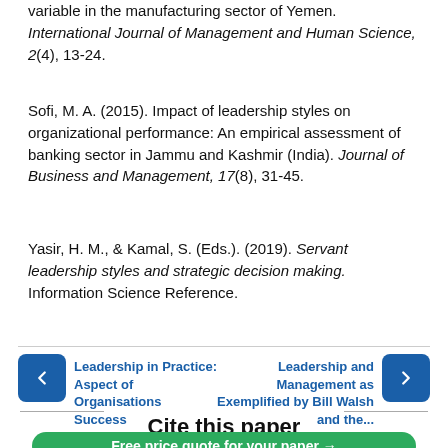variable in the manufacturing sector of Yemen. International Journal of Management and Human Science, 2(4), 13-24.
Sofi, M. A. (2015). Impact of leadership styles on organizational performance: An empirical assessment of banking sector in Jammu and Kashmir (India). Journal of Business and Management, 17(8), 31-45.
Yasir, H. M., & Kamal, S. (Eds.). (2019). Servant leadership styles and strategic decision making. Information Science Reference.
← Leadership in Practice: Aspect of Organisations Success
Leadership and Management as Exemplified by Bill Walsh and the... →
Cite this paper
Free price quote for your paper →